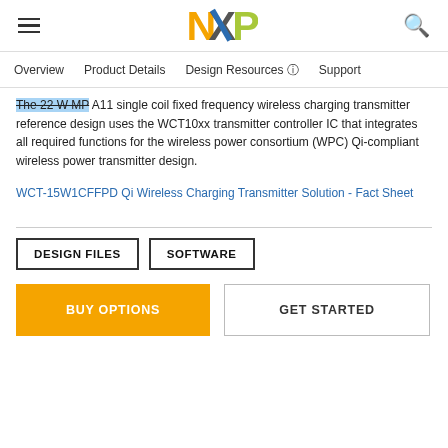NXP logo, hamburger menu, search icon
Overview   Product Details   Design Resources ℹ   Support
The 22 W MP-A11 single coil fixed frequency wireless charging transmitter reference design uses the WCT10xx transmitter controller IC that integrates all required functions for the wireless power consortium (WPC) Qi-compliant wireless power transmitter design.
WCT-15W1CFFPD Qi Wireless Charging Transmitter Solution - Fact Sheet
DESIGN FILES   SOFTWARE
BUY OPTIONS   GET STARTED